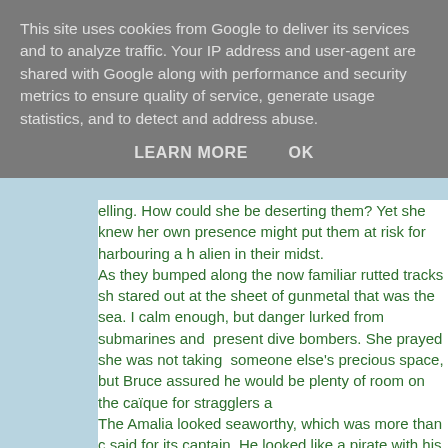This site uses cookies from Google to deliver its services and to analyze traffic. Your IP address and user-agent are shared with Google along with performance and security metrics to ensure quality of service, generate usage statistics, and to detect and address abuse.
LEARN MORE    OK
elling. How could she be deserting them? Yet she knew her own presence might put them at risk for harbouring a harmful alien in their midst. As they bumped along the now familiar rutted tracks she stared out at the sheet of gunmetal that was the sea. It was calm enough, but danger lurked from submarines and ever present dive bombers. She prayed she was not taking someone else's precious space, but Bruce assured her there would be plenty of room on the caïque for stragglers and... The Amalia looked seaworthy, which was more than could be said for its captain. He looked like a pirate with his black beard and he was rolling on deck, drunk to the point of stupor, but his friends threw him down into the hold in disgust. 'Anyone know how to steer this thing?' he yelled.